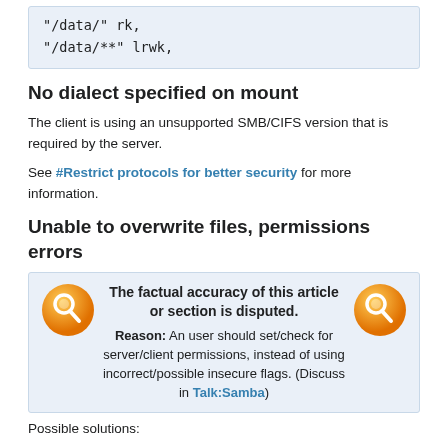"/data/" rk,
"/data/**" lrwk,
No dialect specified on mount
The client is using an unsupported SMB/CIFS version that is required by the server.
See #Restrict protocols for better security for more information.
Unable to overwrite files, permissions errors
The factual accuracy of this article or section is disputed. Reason: An user should set/check for server/client permissions, instead of using incorrect/possible insecure flags. (Discuss in Talk:Samba)
Possible solutions: